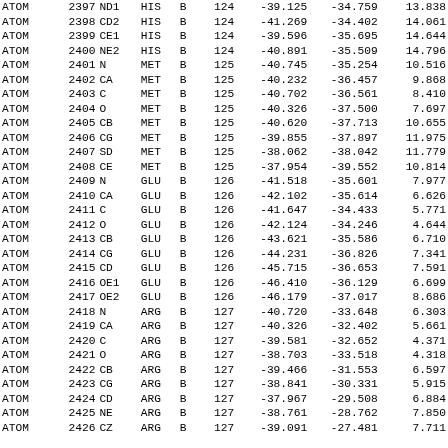|  |  |  |  |  |  |  |  |  |
| --- | --- | --- | --- | --- | --- | --- | --- | --- |
| ATOM | 2397 | ND1 | HIS | B | 124 | -39.125 | -34.759 | 13.838 |
| ATOM | 2398 | CD2 | HIS | B | 124 | -41.269 | -34.402 | 14.061 |
| ATOM | 2399 | CE1 | HIS | B | 124 | -39.596 | -35.695 | 14.644 |
| ATOM | 2400 | NE2 | HIS | B | 124 | -40.891 | -35.509 | 14.796 |
| ATOM | 2401 | N | MET | B | 125 | -40.745 | -35.254 | 10.516 |
| ATOM | 2402 | CA | MET | B | 125 | -40.232 | -36.457 | 9.868 |
| ATOM | 2403 | C | MET | B | 125 | -40.702 | -36.561 | 8.410 |
| ATOM | 2404 | O | MET | B | 125 | -40.326 | -37.500 | 7.697 |
| ATOM | 2405 | CB | MET | B | 125 | -40.620 | -37.713 | 10.655 |
| ATOM | 2406 | CG | MET | B | 125 | -39.855 | -37.897 | 11.975 |
| ATOM | 2407 | SD | MET | B | 125 | -38.062 | -38.042 | 11.779 |
| ATOM | 2408 | CE | MET | B | 125 | -37.954 | -39.552 | 10.814 |
| ATOM | 2409 | N | GLU | B | 126 | -41.518 | -35.601 | 7.977 |
| ATOM | 2410 | CA | GLU | B | 126 | -42.102 | -35.614 | 6.626 |
| ATOM | 2411 | C | GLU | B | 126 | -41.647 | -34.433 | 5.771 |
| ATOM | 2412 | O | GLU | B | 126 | -42.124 | -34.246 | 4.644 |
| ATOM | 2413 | CB | GLU | B | 126 | -43.621 | -35.586 | 6.710 |
| ATOM | 2414 | CG | GLU | B | 126 | -44.231 | -36.826 | 7.341 |
| ATOM | 2415 | CD | GLU | B | 126 | -45.715 | -36.653 | 7.591 |
| ATOM | 2416 | OE1 | GLU | B | 126 | -46.410 | -36.129 | 6.699 |
| ATOM | 2417 | OE2 | GLU | B | 126 | -46.179 | -37.017 | 8.686 |
| ATOM | 2418 | N | ARG | B | 127 | -40.720 | -33.648 | 6.303 |
| ATOM | 2419 | CA | ARG | B | 127 | -40.326 | -32.402 | 5.661 |
| ATOM | 2420 | C | ARG | B | 127 | -39.581 | -32.652 | 4.371 |
| ATOM | 2421 | O | ARG | B | 127 | -38.703 | -33.518 | 4.318 |
| ATOM | 2422 | CB | ARG | B | 127 | -39.466 | -31.553 | 6.597 |
| ATOM | 2423 | CG | ARG | B | 127 | -38.841 | -30.331 | 5.915 |
| ATOM | 2424 | CD | ARG | B | 127 | -37.967 | -29.508 | 6.884 |
| ATOM | 2425 | NE | ARG | B | 127 | -38.761 | -28.762 | 7.850 |
| ATOM | 2426 | CZ | ARG | B | 127 | -39.091 | -27.481 | 7.711 |